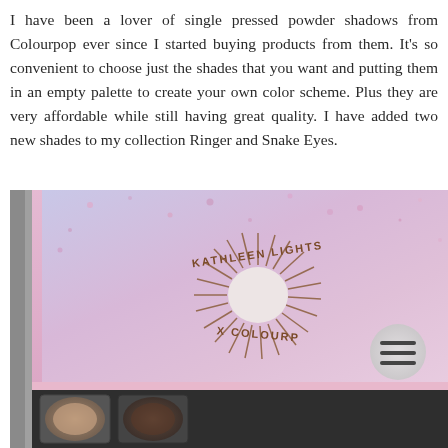I have been a lover of single pressed powder shadows from Colourpop ever since I started buying products from them. It's so convenient to choose just the shades that you want and putting them in an empty palette to create your own color scheme. Plus they are very affordable while still having great quality. I have added two new shades to my collection Ringer and Snake Eyes.
[Figure (photo): A pink eyeshadow palette box open, showing the 'Kathleen Lights x Colourpop' branding with a sunburst logo on the inside lid, with eyeshadow pans visible at the bottom edge.]